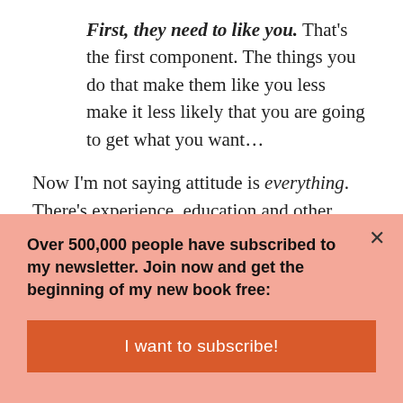First, they need to like you. That's the first component. The things you do that make them like you less make it less likely that you are going to get what you want…
Now I'm not saying attitude is everything. There's experience, education and other factors, of course, but…
…you'd be surprised how little even some of those matter.
Over 500,000 people have subscribed to my newsletter. Join now and get the beginning of my new book free:
I want to subscribe!